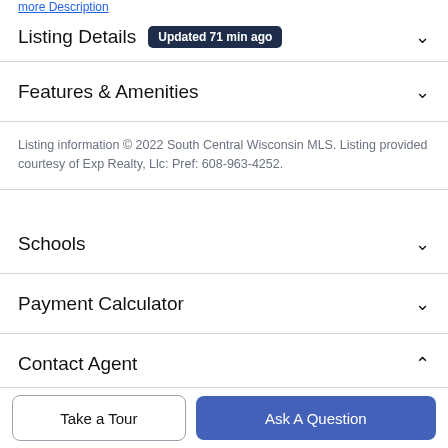more Description
Listing Details  Updated 71 min ago
Features & Amenities
Listing information © 2022 South Central Wisconsin MLS. Listing provided courtesy of Exp Realty, Llc: Pref: 608-963-4252.
Schools
Payment Calculator
Contact Agent
Take a Tour
Ask A Question